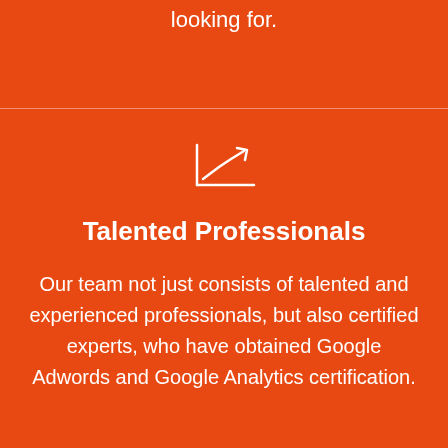looking for.
[Figure (illustration): White line chart icon with upward trending arrow on orange background]
Talented Professionals
Our team not just consists of talented and experienced professionals, but also certified experts, who have obtained Google Adwords and Google Analytics certification.